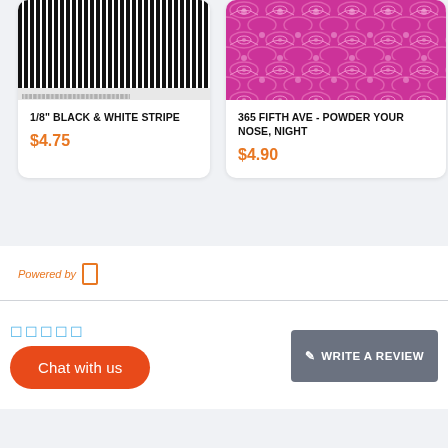[Figure (photo): Black and white vertical stripes fabric swatch with ruler at bottom]
1/8" BLACK & WHITE STRIPE
$4.75
[Figure (photo): Pink/magenta decorative pattern fabric swatch with repeating oval/wave motifs]
365 FIFTH AVE - POWDER YOUR NOSE, NIGHT
$4.90
Powered by
☐☐☐☐☐
Chat with us
✏ WRITE A REVIEW